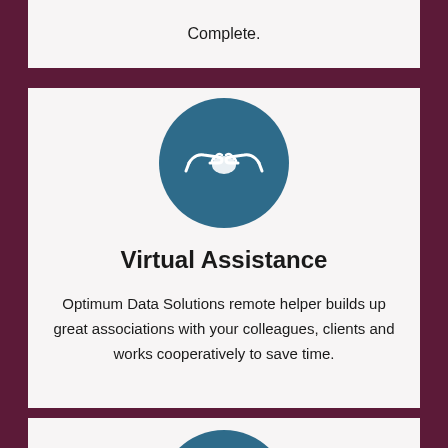Complete.
[Figure (illustration): Blue circle with white handshake/helping hands icon]
Virtual Assistance
Optimum Data Solutions remote helper builds up great associations with your colleagues, clients and works cooperatively to save time.
[Figure (illustration): Blue circle with white globe/world wide web icon]